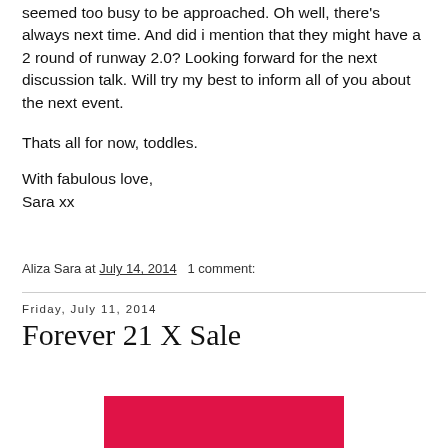seemed too busy to be approached. Oh well, there's always next time. And did i mention that they might have a 2 round of runway 2.0? Looking forward for the next discussion talk. Will try my best to inform all of you about the next event.
Thats all for now, toddles.
With fabulous love,
Sara xx
Aliza Sara at July 14, 2014   1 comment:
Friday, July 11, 2014
Forever 21 X Sale
[Figure (photo): Red/crimson colored banner or image preview for Forever 21 X Sale post]